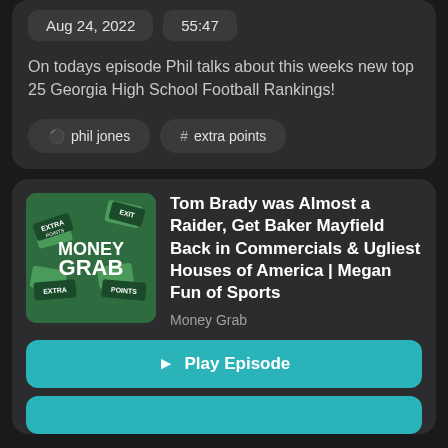Aug 24, 2022   55:47
On todays episode Phil talks about this weeks new top 25 Georgia High School Football Rankings!
phil jones   # extra points
Tom Brady was Almost a Raider, Get Baker Mayfield Back in Commercials & Ugliest Houses of America | Megan Fun of Sports
Money Grab
▶ Play Episode